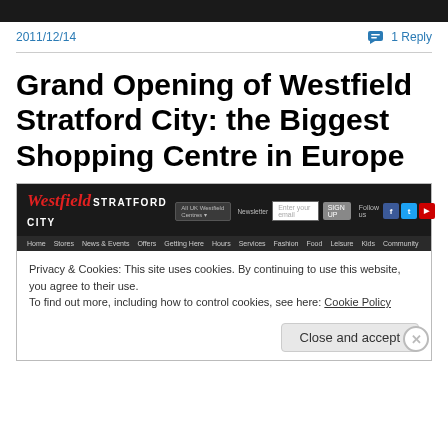[Figure (screenshot): Top dark image strip]
2011/12/14
1 Reply
Grand Opening of Westfield Stratford City: the Biggest Shopping Centre in Europe
[Figure (screenshot): Screenshot of Westfield Stratford City website showing logo, navigation bar, and a cookie consent banner with 'Close and accept' button]